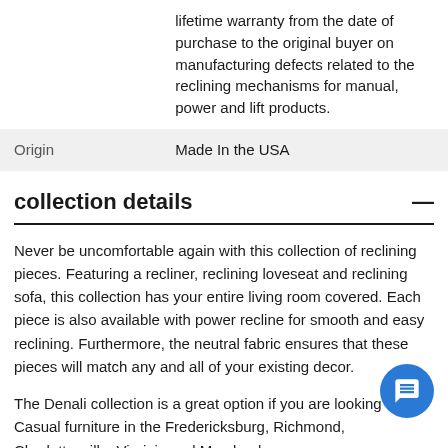|  | lifetime warranty from the date of purchase to the original buyer on manufacturing defects related to the reclining mechanisms for manual, power and lift products. |
| Origin | Made In the USA |
collection details
Never be uncomfortable again with this collection of reclining pieces. Featuring a recliner, reclining loveseat and reclining sofa, this collection has your entire living room covered. Each piece is also available with power recline for smooth and easy reclining. Furthermore, the neutral fabric ensures that these pieces will match any and all of your existing decor.
The Denali collection is a great option if you are looking for Casual furniture in the Fredericksburg, Richmond, Charlottesville, Virginia and Maryland area.